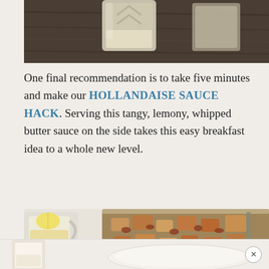[Figure (photo): Top portion of a photo showing a glass cup with a cream/beige liquid on a dark wooden surface]
One final recommendation is to take five minutes and make our HOLLANDAISE SAUCE HACK. Serving this tangy, lemony, whipped butter sauce on the side takes this easy breakfast idea to a whole new level.
[Figure (photo): Photo of a glass baking dish filled with a bread casserole/strata with meat, alongside a glass pitcher of creamy sauce, on a white table]
[Figure (photo): Partial bottom photo strip showing a glass with cream liquid and a white bowl]